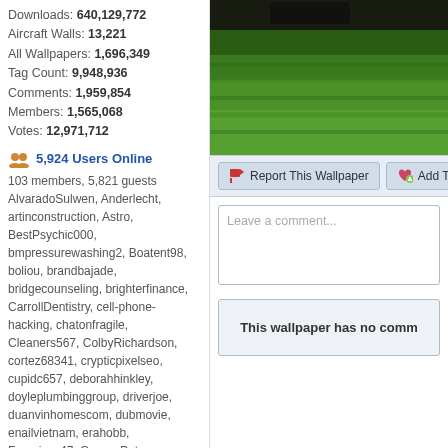Downloads: 640,129,772
Aircraft Walls: 13,221
All Wallpapers: 1,696,349
Tag Count: 9,948,936
Comments: 1,959,854
Members: 1,565,068
Votes: 12,971,712
5,924 Users Online
103 members, 5,821 guests
AlvaradoSulwen, Anderlecht, artinconstruction, Astro, BestPsychic000, bmpressurewashing2, Boatent98, boliou, brandbajade, bridgecounseling, brighterfinance, CarrollDentistry, cell-phone-hacking, chatonfragile, Cleaners567, ColbyRichardson, cortez68341, crypticpixelseo, cupidc657, deborahhinkley, doyleplumbinggroup, driverjoe, duanvinhomescom, dubmovie, enailvietnam, erahobb, Francisco47, GeorgePaterson, Gibsonfan, gotrup, guybishop3, hevenpainrelief, Iamgroottt616, ianbose22, ikcinbots, infognana, Installationvinyl11, jasonguck, JokersStash, josephfirarae, jun8888, KayaXu8, khungnhomkinhvietphon..., kinggohan, Lalina, Lamamake, leonbetappin, lertuiosq, lilla811, lirikmerch, maayash, maethanbu, marquisharkley
[Figure (photo): Aerial or close-up photo of green grass field with dark sky at top]
Report This Wallpaper
Add To F
Leave a comment...
This wallpaper has no comm